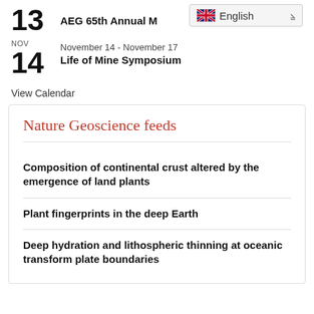13  AEG 65th Annual M...
NOV  November 14 - November 17
14  Life of Mine Symposium
View Calendar
Nature Geoscience feeds
Composition of continental crust altered by the emergence of land plants
Plant fingerprints in the deep Earth
Deep hydration and lithospheric thinning at oceanic transform plate boundaries